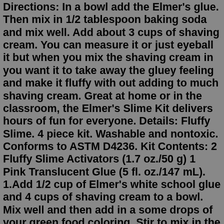Directions: In a bowl add the Elmer's glue. Then mix in 1/2 tablespoon baking soda and mix well. Add about 3 cups of shaving cream. You can measure it or just eyeball it but when you mix the shaving cream in you want it to take away the gluey feeling and make it fluffy with out adding to much shaving cream. Great at home or in the classroom, the Elmer's Slime Kit delivers hours of fun for everyone. Details: Fluffy Slime. 4 piece kit. Washable and nontoxic. Conforms to ASTM D4236. Kit Contents: 2 Fluffy Slime Activators (1.7 oz./50 g) 1 Pink Translucent Glue (5 fl. oz./147 mL). 1.Add 1/2 cup of Elmer's white school glue and 4 cups of shaving cream to a bowl. Mix well and then add in a some drops of your green food coloring. Stir to mix in the color. 2. Next stir in 1/4 tsp of baking soda and then add 1 tbsp of saline solution. Still well. 3. Mix thoroughly and knead the mixture. You'll notice this is when it. Christmas Glitter Fluffy Slime Directions. In a bowl add the Elmer's glue. Then mix in 1/2 tablespoon baking soda and mix well. Add about 3 cups of shaving cream. You can measure